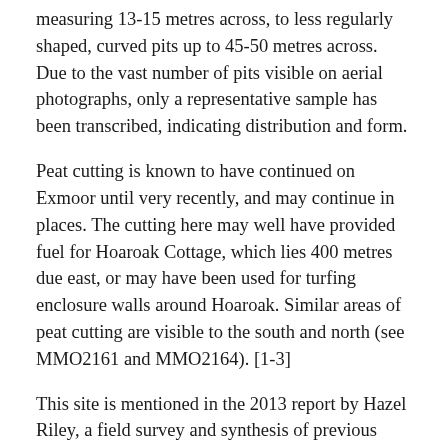measuring 13-15 metres across, to less regularly shaped, curved pits up to 45-50 metres across. Due to the vast number of pits visible on aerial photographs, only a representative sample has been transcribed, indicating distribution and form.
Peat cutting is known to have continued on Exmoor until very recently, and may continue in places. The cutting here may well have provided fuel for Hoaroak Cottage, which lies 400 metres due east, or may have been used for turfing enclosure walls around Hoaroak. Similar areas of peat cutting are visible to the south and north (see MMO2161 and MMO2164). [1-3]
This site is mentioned in the 2013 report by Hazel Riley, a field survey and synthesis of previous projects in the Hoaroak Valley, funded by the Exmoor Moorland Landscape Partnership Scheme. [4]
A study of the archaeology and history of peat exploitation on Exmoor's moorlands provides additional background on the practice and sites. [5]